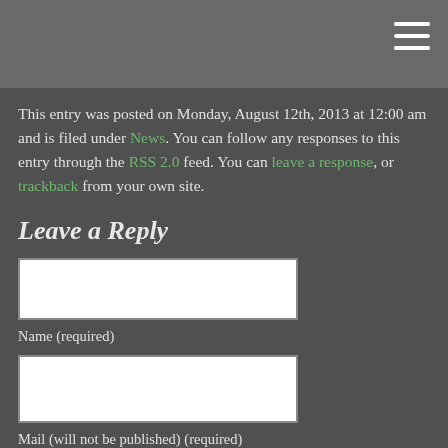[Figure (other): Top navigation bar with hamburger menu icon (three white horizontal lines) on dark gray background]
This entry was posted on Monday, August 12th, 2013 at 12:00 am and is filed under News. You can follow any responses to this entry through the RSS 2.0 feed. You can leave a response, or trackback from your own site.
Leave a Reply
Name (required)
Mail (will not be published) (required)